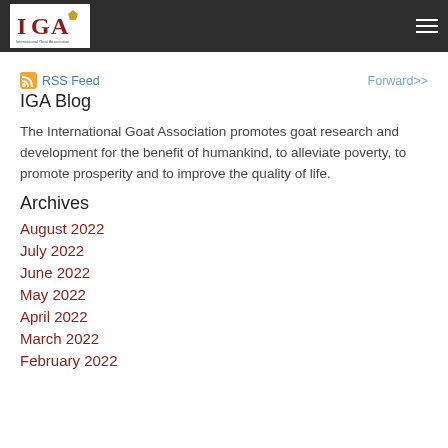IGA — International Goat Association header navigation
RSS Feed    Forward>>
IGA Blog
The International Goat Association promotes goat research and development for the benefit of humankind, to alleviate poverty, to promote prosperity and to improve the quality of life.
Archives
August 2022
July 2022
June 2022
May 2022
April 2022
March 2022
February 2022